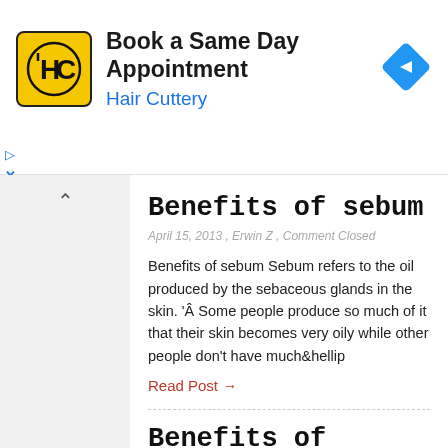[Figure (logo): Hair Cuttery advertisement banner with HC logo, 'Book a Same Day Appointment' headline, 'Hair Cuttery' subtitle in blue, and a blue diamond-shaped navigation arrow icon]
Benefits of sebum
April 15, 2013 , Erwin Z , Comment Closed
Benefits of sebum Sebum refers to the oil produced by the sebaceous glands in the skin. 'Â Some people produce so much of it that their skin becomes very oily while other people don't have much&hellip
Read Post →
Benefits of lorazepam
March 3, 2013 , Erwin Z , Comment Closed